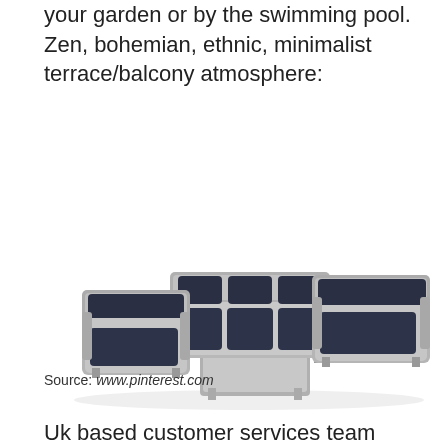your garden or by the swimming pool. Zen, bohemian, ethnic, minimalist terrace/balcony atmosphere:
[Figure (photo): Outdoor wicker/rattan garden furniture set with dark navy cushions including a two-seat sofa, two armchairs, and a rectangular coffee table, all in grey weave finish, shown on white background.]
Source: www.pinterest.com
Uk based customer services team dealing